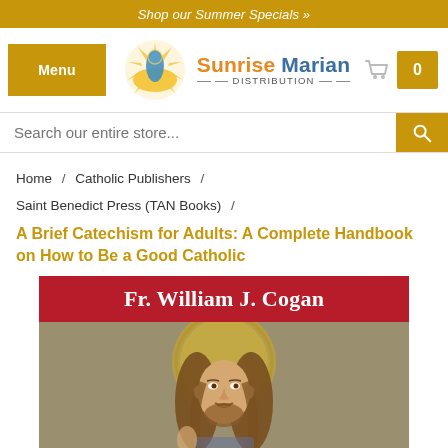Shop our Summer Specials »
[Figure (logo): Sunrise Marian Distribution logo with sun/Mary icon and stylized text]
Search our entire store...
Home / Catholic Publishers / Saint Benedict Press (TAN Books) /
A Brief Catechism for Adults: A Complete Handbook on How to Be a Good Catholic
[Figure (photo): Book cover featuring 'Fr. William J. Cogan' in white text on red banner, with a religious painting of Jesus Christ below]